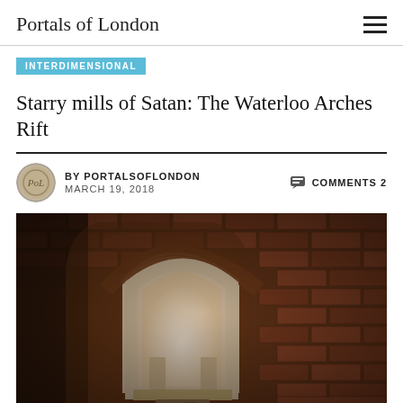Portals of London
INTERDIMENSIONAL
Starry mills of Satan: The Waterloo Arches Rift
BY PORTALSOFLONDON   MARCH 19, 2018   COMMENTS 2
[Figure (photo): Interior photograph of a brick archway with a bright white arched niche/opening set into a weathered red brick wall, creating a dramatic contrast between the glowing interior and dark surroundings.]